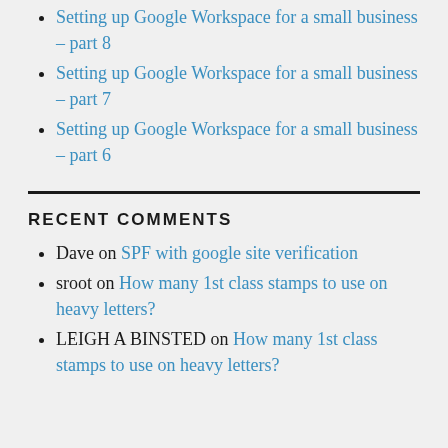Setting up Google Workspace for a small business – part 8
Setting up Google Workspace for a small business – part 7
Setting up Google Workspace for a small business – part 6
RECENT COMMENTS
Dave on SPF with google site verification
sroot on How many 1st class stamps to use on heavy letters?
LEIGH A BINSTED on How many 1st class stamps to use on heavy letters?